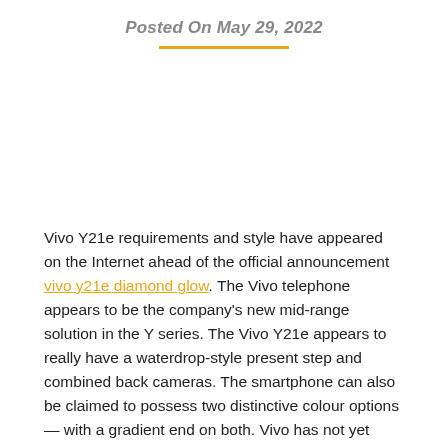Posted On May 29, 2022
[Figure (other): Image placeholder area below the date header]
Vivo Y21e requirements and style have appeared on the Internet ahead of the official announcement vivo y21e diamond glow. The Vivo telephone appears to be the company's new mid-range solution in the Y series. The Vivo Y21e appears to really have a waterdrop-style present step and combined back cameras. The smartphone can also be claimed to possess two distinctive colour options — with a gradient end on both. Vivo has not yet unmasked any